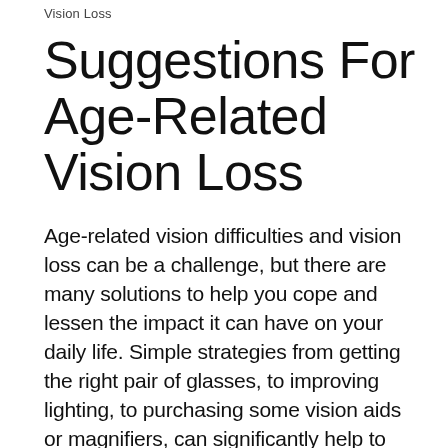Vision Loss
Suggestions For Age-Related Vision Loss
Age-related vision difficulties and vision loss can be a challenge, but there are many solutions to help you cope and lessen the impact it can have on your daily life. Simple strategies from getting the right pair of glasses, to improving lighting, to purchasing some vision aids or magnifiers, can significantly help to compensate for reduced vision. Vision changes are normal with age yet it's important to speak to your eye doctor so you know what to expect and ensure that the changes you are